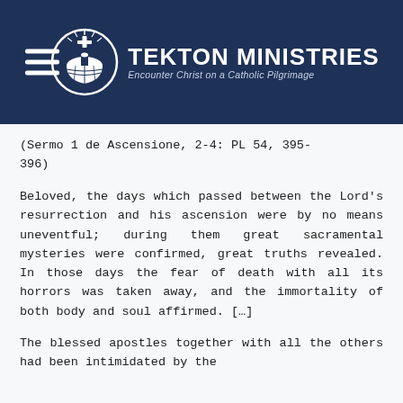[Figure (logo): Tekton Ministries logo with hamburger menu icon, circular dome/cross emblem, bold text 'TEKTON MINISTRIES' and subtitle 'Encounter Christ on a Catholic Pilgrimage' on dark navy background]
(Sermo 1 de Ascensione, 2-4: PL 54, 395-396)
Beloved, the days which passed between the Lord’s resurrection and his ascension were by no means uneventful; during them great sacramental mysteries were confirmed, great truths revealed. In those days the fear of death with all its horrors was taken away, and the immortality of both body and soul affirmed. […]
The blessed apostles together with all the others had been intimidated by the